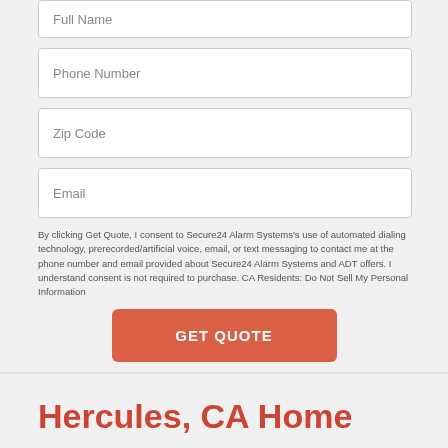Full Name
Phone Number
Zip Code
Email
By clicking Get Quote, I consent to Secure24 Alarm Systems's use of automated dialing technology, prerecorded/artificial voice, email, or text messaging to contact me at the phone number and email provided about Secure24 Alarm Systems and ADT offers. I understand consent is not required to purchase. CA Residents: Do Not Sell My Personal Information
GET QUOTE
Hercules, CA Home